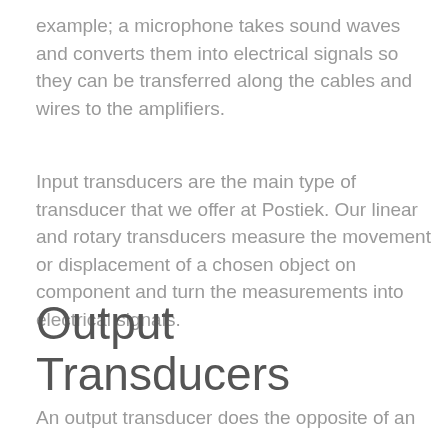example; a microphone takes sound waves and converts them into electrical signals so they can be transferred along the cables and wires to the amplifiers.
Input transducers are the main type of transducer that we offer at Postiek. Our linear and rotary transducers measure the movement or displacement of a chosen object on component and turn the measurements into electrical signals.
Output Transducers
An output transducer does the opposite of an